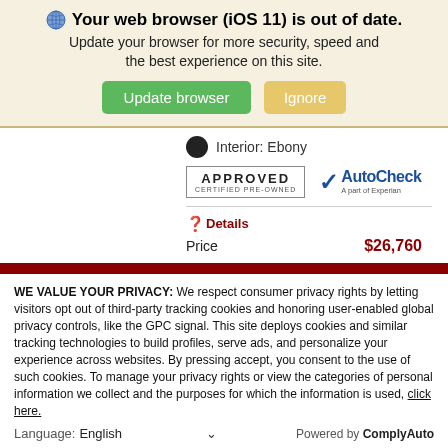Your web browser (iOS 11) is out of date. Update your browser for more security, speed and the best experience on this site.
Interior: Ebony
[Figure (logo): APPROVED CERTIFIED PRE-OWNED badge and AutoCheck (a part of Experian) logo]
Details
Price $26,760
WE VALUE YOUR PRIVACY: We respect consumer privacy rights by letting visitors opt out of third-party tracking cookies and honoring user-enabled global privacy controls, like the GPC signal. This site deploys cookies and similar tracking technologies to build profiles, serve ads, and personalize your experience across websites. By pressing accept, you consent to the use of such cookies. To manage your privacy rights or view the categories of personal information we collect and the purposes for which the information is used, click here.
Language: English  ✓  Powered by ComplyAuto
Accept and Continue →  Privacy Policy  ×